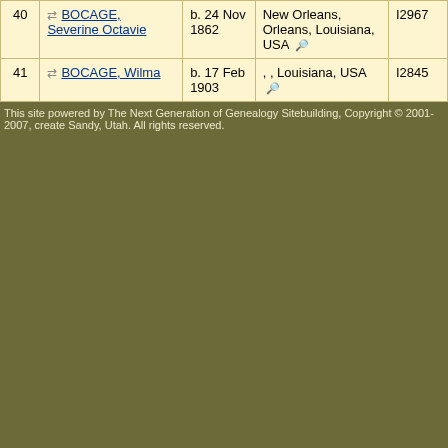| # | Name | Birth | Birthplace | ID |
| --- | --- | --- | --- | --- |
| 40 | BOCAGE, Severine Octavie | b. 24 Nov 1862 | New Orleans, Orleans, Louisiana, USA | I2967 |
| 41 | BOCAGE, Wilma | b. 17 Feb 1903 | , , Louisiana, USA | I2845 |
This site powered by The Next Generation of Genealogy Sitebuilding, Copyright © 2001-2007, create Sandy, Utah. All rights reserved.